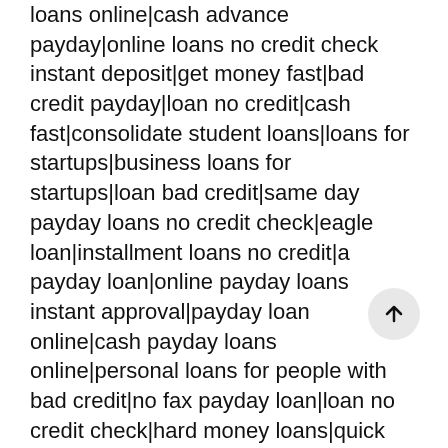loans online|cash advance payday|online loans no credit check instant deposit|get money fast|bad credit payday|loan no credit|cash fast|consolidate student loans|loans for startups|business loans for startups|loan bad credit|same day payday loans no credit check|eagle loan|installment loans no credit|a payday loan|online payday loans instant approval|payday loan online|cash payday loans online|personal loans for people with bad credit|no fax payday loan|loan no credit check|hard money loans|quick money|easy payday|online payday loans instant|pay day loan|loans for students|home loans for bad credit|loans for bad credit with monthly payments|quick cash loans|direct lending|emergency loans|personal loans apply|lenders for bad credit|advance payday loan|wells fargo loans|how to get money fast|fast cash loans|bad credit home loans|easy loans|credit card debt relief|loans apply|personal lending group|online loans with monthly payments|loan